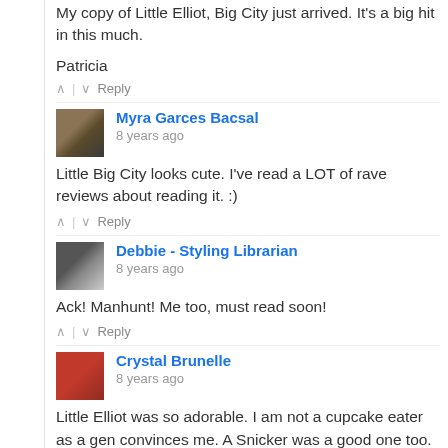My copy of Little Elliot, Big City just arrived. It's a big hit in this much.
Patricia
^ | v Reply
Myra Garces Bacsal
8 years ago
Little Big City looks cute. I've read a LOT of rave reviews about reading it. :)
^ | v Reply
Debbie - Styling Librarian
8 years ago
Ack! Manhunt! Me too, must read soon!
^ | v Reply
Crystal Brunelle
8 years ago
Little Elliot was so adorable. I am not a cupcake eater as a gen convinces me. A Snicker was a good one too. I think you'll enjo wonderful job with that series.
^ Reply